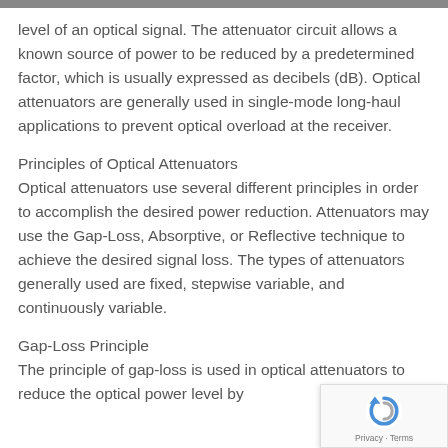level of an optical signal. The attenuator circuit allows a known source of power to be reduced by a predetermined factor, which is usually expressed as decibels (dB). Optical attenuators are generally used in single-mode long-haul applications to prevent optical overload at the receiver.
Principles of Optical Attenuators
Optical attenuators use several different principles in order to accomplish the desired power reduction. Attenuators may use the Gap-Loss, Absorptive, or Reflective technique to achieve the desired signal loss. The types of attenuators generally used are fixed, stepwise variable, and continuously variable.
Gap-Loss Principle
The principle of gap-loss is used in optical attenuators to reduce the optical power level by